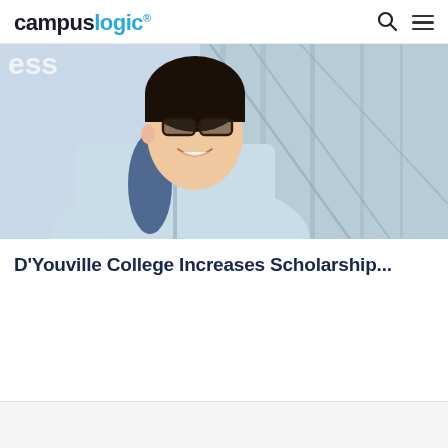campuslogic.
[Figure (photo): Young Asian man smiling, wearing glasses and a light blue zip-up sweater with a backpack, standing in front of a glass building. Partially visible text 'ess' on the upper left.]
D'Youville College Increases Scholarship...